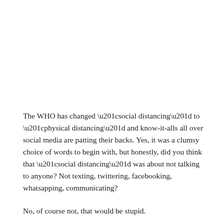The WHO has changed “social distancing” to “physical distancing” and know-it-alls all over social media are patting their backs. Yes, it was a clumsy choice of words to begin with, but honestly, did you think that “social distancing” was about not talking to anyone? Not texting, twittering, facebooking, whatsapping, communicating?
No, of course not, that would be stupid.